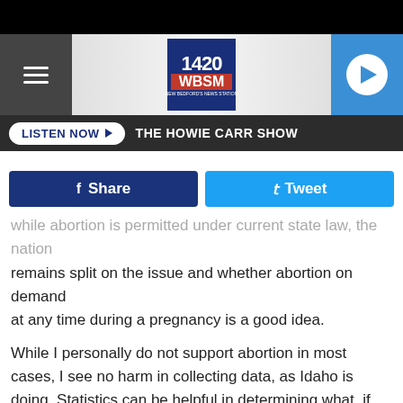[Figure (screenshot): 1420 WBSM radio station logo with navigation header including hamburger menu, logo, and play button]
LISTEN NOW ▶  THE HOWIE CARR SHOW
[Figure (infographic): Social share buttons: Facebook Share and Twitter Tweet]
...while abortion is permitted under current state law, the nation remains split on the issue and whether abortion on demand at any time during a pregnancy is a good idea.
While I personally do not support abortion in most cases, I see no harm in collecting data, as Idaho is doing. Statistics can be helpful in determining what, if any, restrictions should be placed on abortion.
I believe that understanding all aspects of abortion, including...